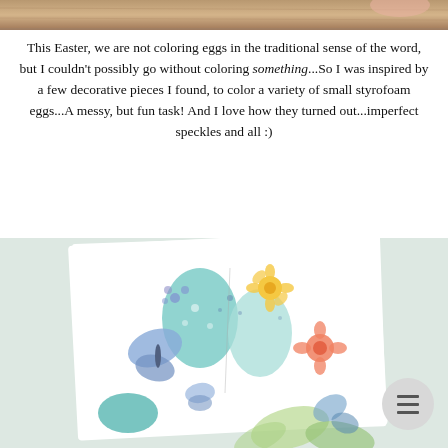[Figure (photo): Partial photo of Easter eggs on a wooden surface, cropped at top of page]
This Easter, we are not coloring eggs in the traditional sense of the word, but I couldn't possibly go without coloring something...So I was inspired by a few decorative pieces I found, to color a variety of small styrofoam eggs...A messy, but fun task! And I love how they turned out...imperfect speckles and all :)
[Figure (photo): Decorative Easter card with colorful flowers, butterflies, and pastel eggs on a white background]